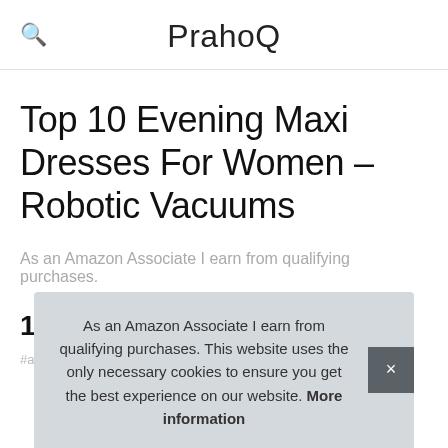PrahoQ
Top 10 Evening Maxi Dresses For Women – Robotic Vacuums
As an Amazon Associate I earn from qualifying purchases.
1. Aniywn
#ad
As an Amazon Associate I earn from qualifying purchases. This website uses the only necessary cookies to ensure you get the best experience on our website. More information